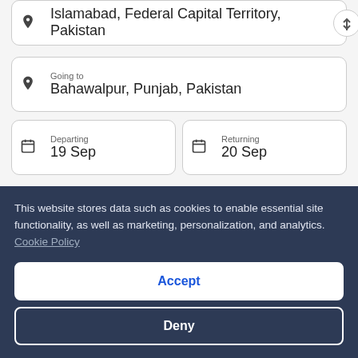Islamabad, Federal Capital Territory, Pakistan
Going to
Bahawalpur, Punjab, Pakistan
Departing
19 Sep
Returning
20 Sep
Direct flights only
1 traveller
Economy
This website stores data such as cookies to enable essential site functionality, as well as marketing, personalization, and analytics. Cookie Policy
Accept
Deny